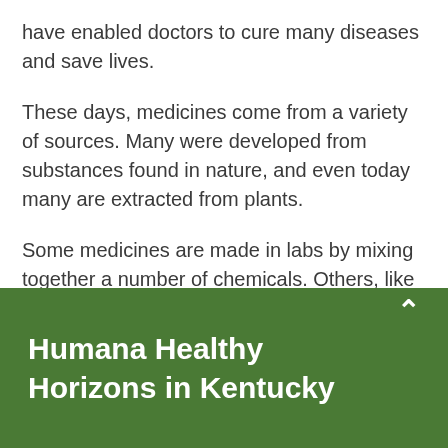have enabled doctors to cure many diseases and save lives.
These days, medicines come from a variety of sources. Many were developed from substances found in nature, and even today many are extracted from plants.
Some medicines are made in labs by mixing together a number of chemicals. Others, like penicillin, are byproducts of organisms such as fungus. And a few are even biologically engineered by inserting genes into bacteria that make them
Humana Healthy Horizons in Kentucky